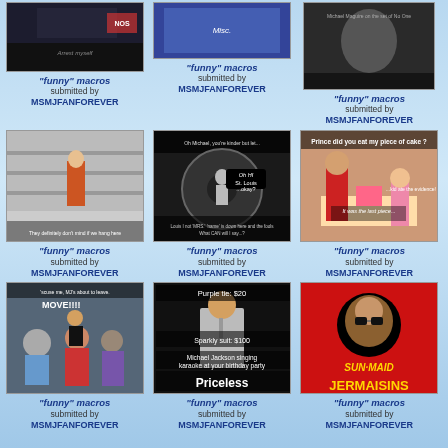[Figure (photo): Meme image - dark concert/crowd photo]
"funny" macros
submitted by
MSMJFANFOREVER
[Figure (photo): Meme image - blue/purple gradient image]
"funny" macros
submitted by
MSMJFANFOREVER
[Figure (photo): Meme image - black and white person photo with text overlay]
"funny" macros
submitted by
MSMJFANFOREVER
[Figure (photo): Meme image - person in store/mall]
"funny" macros
submitted by
MSMJFANFOREVER
[Figure (photo): Meme image - black and white vintage photo with text overlay]
"funny" macros
submitted by
MSMJFANFOREVER
[Figure (photo): Meme image - Prince did you eat my piece of cake]
"funny" macros
submitted by
MSMJFANFOREVER
[Figure (photo): Meme image - MOVE!!!! crowd scene]
"funny" macros
submitted by
MSMJFANFOREVER
[Figure (photo): Meme image - Purple tie $20 / Sparkly suit $100 / Michael Jackson singing karaoke at your birthday party / Priceless]
"funny" macros
submitted by
MSMJFANFOREVER
[Figure (photo): Meme image - SUN-MAID JERMAISINS red background]
"funny" macros
submitted by
MSMJFANFOREVER